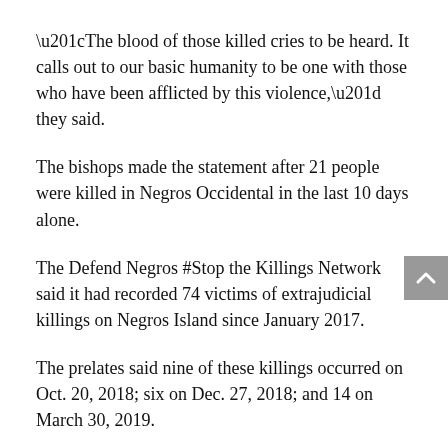“The blood of those killed cries to be heard. It calls out to our basic humanity to be one with those who have been afflicted by this violence,” they said.
The bishops made the statement after 21 people were killed in Negros Occidental in the last 10 days alone.
The Defend Negros #Stop the Killings Network said it had recorded 74 victims of extrajudicial killings on Negros Island since January 2017.
The prelates said nine of these killings occurred on Oct. 20, 2018; six on Dec. 27, 2018; and 14 on March 30, 2019.
“And this is just to cite a few,” they said. “Nevertheless, these numbers fill us with deep sadness.”
The statement was signed by bishops Gerardo Alminaza of San Carlos, Julito Cortes of Dumaguete, Patricio Buzon of Bacolod and Louie Galbines of